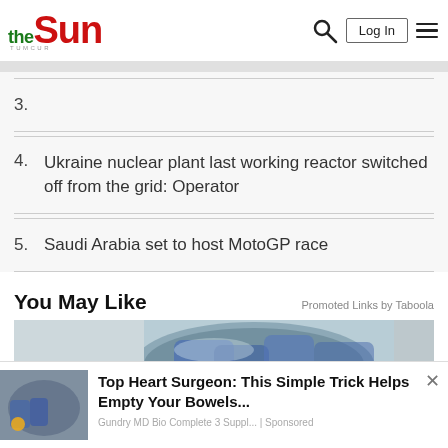the Sun
3.
4. Ukraine nuclear plant last working reactor switched off from the grid: Operator
5. Saudi Arabia set to host MotoGP race
You May Like
Promoted Links by Taboola
[Figure (photo): Photo of a bowl/container with blue plastic bags, partially visible with a hand holding items at bottom left]
Top Heart Surgeon: This Simple Trick Helps Empty Your Bowels...
Gundry MD Bio Complete 3 Suppl... | Sponsored